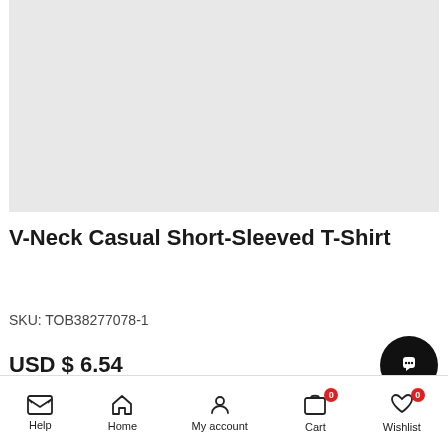[Figure (photo): Product image placeholder — light gray rectangle]
V-Neck Casual Short-Sleeved T-Shirt
SKU: TOB38277078-1
USD $ 6.54
Help  Home  My account  Cart 0  Wishlist 0